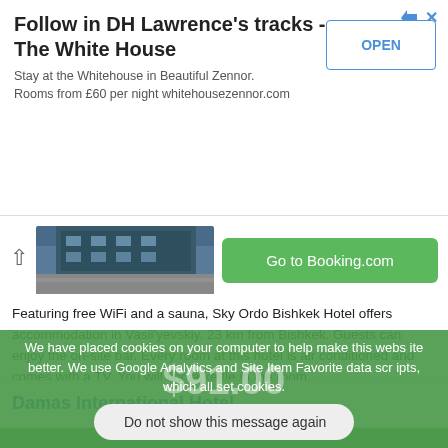Follow in DH Lawrence's tracks - The White House
Stay at the Whitehouse in Beautiful Zennor. Rooms from £60 per night whitehousezennor.com
[Figure (screenshot): Hotel building exterior photo]
Go to Booking.com
Featuring free WiFi and a sauna, Sky Ordo Bishkek Hotel offers accommodation in Vasil'yevskiy, 23 km from Bishkek. Guests can enjoy the on-site bar. Every room at this hotel is air conditioned and comes with a TV. You will find a kettle in the room.
Damas International Hotel
We have placed cookies on your computer to help make this website better. We use Google Analytics and Site Item Favorite data scripts, which all set cookies.
Do not show this message again